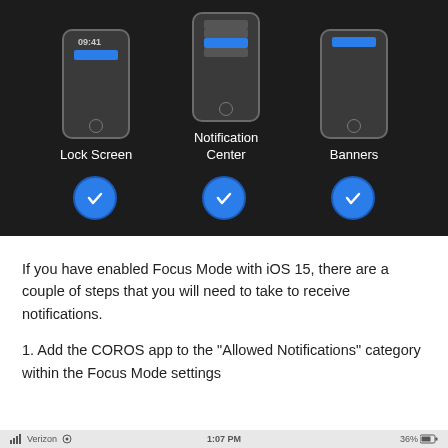[Figure (screenshot): iOS notification settings screenshot showing three phone icons labeled Lock Screen, Notification Center, and Banners, each with a blue checkmark circle below indicating they are selected.]
If you have enabled Focus Mode with iOS 15, there are a couple of steps that you will need to take to receive notifications.
1. Add the COROS app to the "Allowed Notifications" category within the Focus Mode settings
Verizon  1:07 PM  36%